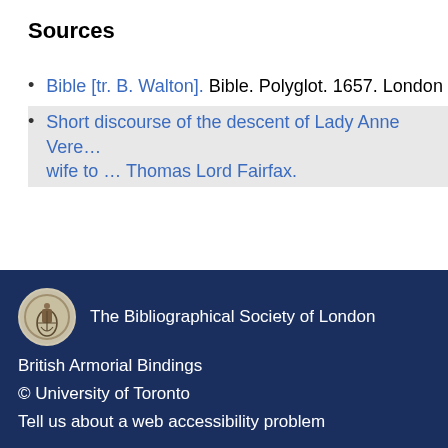Sources
Bible [tr. B. Walton]. Bible. Polyglot. 1657. London
Short discourse of the descent of Lady Anne Vere ... wife to … Thomas Lord Fairfax.
The Bibliographical Society of London
British Armorial Bindings
© University of Toronto
Tell us about a web accessibility problem